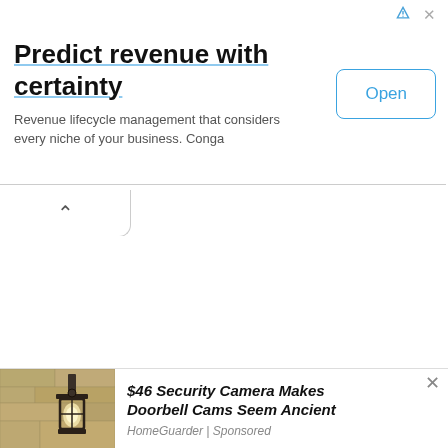[Figure (other): Web advertisement banner: 'Predict revenue with certainty' with subtitle 'Revenue lifecycle management that considers every niche of your business. Conga' and an 'Open' button. Ad attribution icons in top right.]
[Figure (other): Collapse/minimize button with upward chevron (^) on a white rounded tab below the top advertisement.]
[Figure (other): Second advertisement: photo of an outdoor wall lantern/security light on a stone wall. Text reads '$46 Security Camera Makes Doorbell Cams Seem Ancient'. Source: HomeGuarder | Sponsored. Has a close (x) button.]